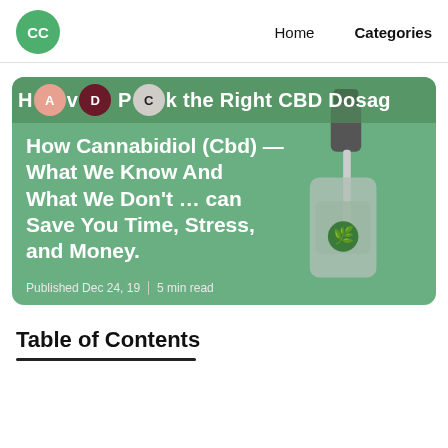CC | Home | Categories
[Figure (illustration): Article card with green background showing CBD dropper bottle illustration. Top bar shows avatar circles labeled A, D, C and partial text 'How Pick the Right CBD Dosage'. Main text: 'How Cannabidiol (Cbd) — What We Know And What We Don't … can Save You Time, Stress, and Money.' Published Dec 24, 19 | 5 min read]
Table of Contents